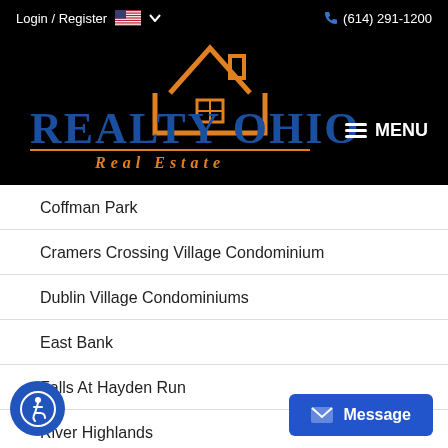Login / Register  (614) 291-1200
[Figure (logo): Realty Ohio Real Estate logo with orange house icon on black background]
Coffman Park
Cramers Crossing Village Condominium
Dublin Village Condominiums
East Bank
Falls At Hayden Run
River Highlands
Shannon Village